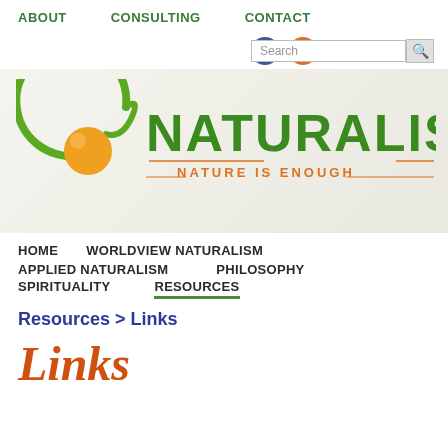ABOUT   CONSULTING   CONTACT
[Figure (logo): Naturalism logo with green swirl, orange circle, green NATURALISM text and orange NATURE IS ENOUGH tagline]
HOME   WORLDVIEW NATURALISM   APPLIED NATURALISM   PHILOSOPHY   SPIRITUALITY   RESOURCES
Resources > Links
Links